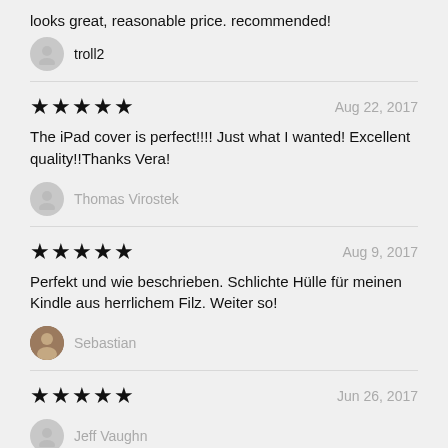looks great, reasonable price. recommended!
troll2
★★★★★  Aug 22, 2017
The iPad cover is perfect!!!! Just what I wanted! Excellent quality!!Thanks Vera!
Thomas Virostek
★★★★★  Aug 9, 2017
Perfekt und wie beschrieben. Schlichte Hülle für meinen Kindle aus herrlichem Filz. Weiter so!
Sebastian
★★★★★  Jun 26, 2017
Jeff Vaughn